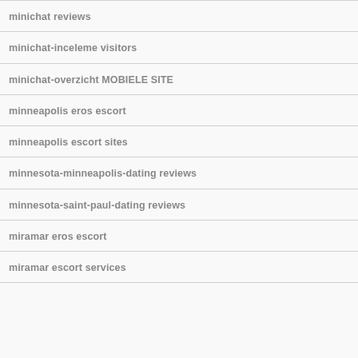minichat reviews
minichat-inceleme visitors
minichat-overzicht MOBIELE SITE
minneapolis eros escort
minneapolis escort sites
minnesota-minneapolis-dating reviews
minnesota-saint-paul-dating reviews
miramar eros escort
miramar escort services